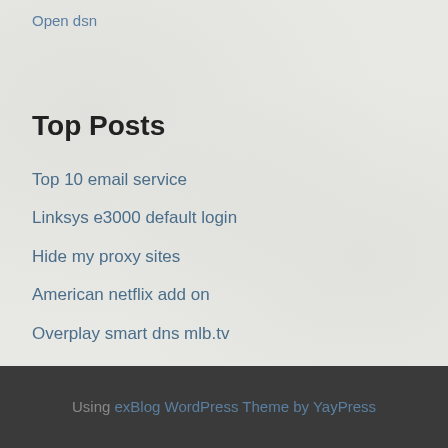Open dsn
Top Posts
Top 10 email service
Linksys e3000 default login
Hide my proxy sites
American netflix add on
Overplay smart dns mlb.tv
Using exBlog WordPress Theme by YayPress